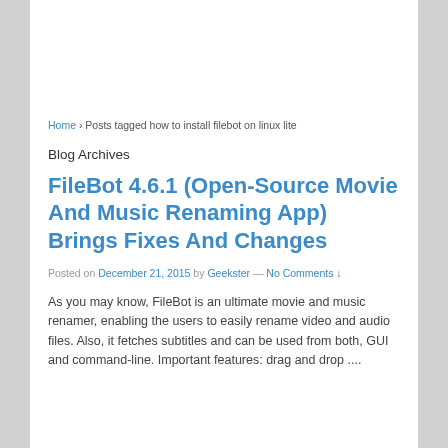Home › Posts tagged how to install filebot on linux lite
Blog Archives
FileBot 4.6.1 (Open-Source Movie And Music Renaming App) Brings Fixes And Changes
Posted on December 21, 2015 by Geekster — No Comments ↓
As you may know, FileBot is an ultimate movie and music renamer, enabling the users to easily rename video and audio files. Also, it fetches subtitles and can be used from both, GUI and command-line. Important features: drag and drop ....